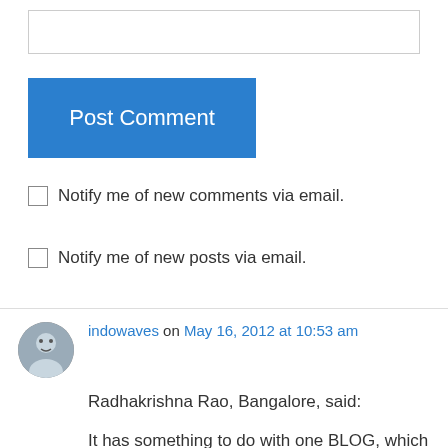[Figure (other): Text input box (comment field)]
Post Comment
Notify me of new comments via email.
Notify me of new posts via email.
indowaves on May 16, 2012 at 10:53 am
Radhakrishna Rao, Bangalore, said:
It has something to do with one BLOG, which you had written..Brahminhood :)..
I think that Sanskrit Language’s revival would also bring back BRAHMANISM, as they both are